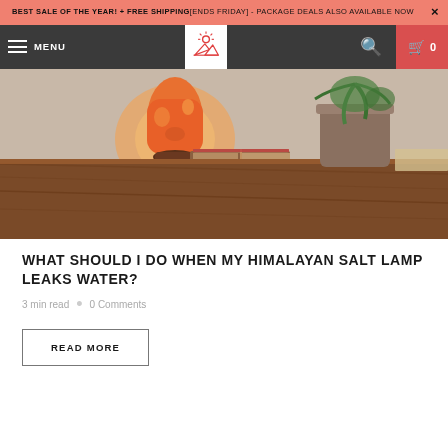BEST SALE OF THE YEAR! + FREE SHIPPING[ENDS FRIDAY] - PACKAGE DEALS ALSO AVAILABLE NOW
MENU | Logo | Search | Cart 0
[Figure (photo): Himalayan salt lamp glowing orange on a dark wooden table, with an open book and a small plant in a brown pot in the background]
WHAT SHOULD I DO WHEN MY HIMALAYAN SALT LAMP LEAKS WATER?
3 min read  •  0 Comments
READ MORE